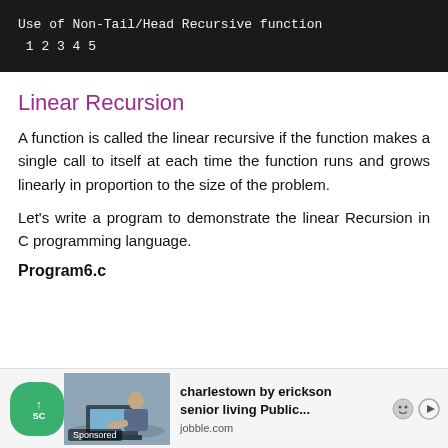[Figure (screenshot): Dark terminal/code block showing 'Use of Non-Tail/Head Recursive function' on first line and '1 2 3 4 5' on second line, white monospace text on black background]
Linear Recursion
A function is called the linear recursive if the function makes a single call to itself at each time the function runs and grows linearly in proportion to the size of the problem.
Let's write a program to demonstrate the linear Recursion in C programming language.
Program6.c
[Figure (screenshot): Advertisement bar at the bottom: green scroll-up button, photo of person at laptop, text 'charlestown by erickson senior living Public...' from jobble.com, with smiley and play icons]